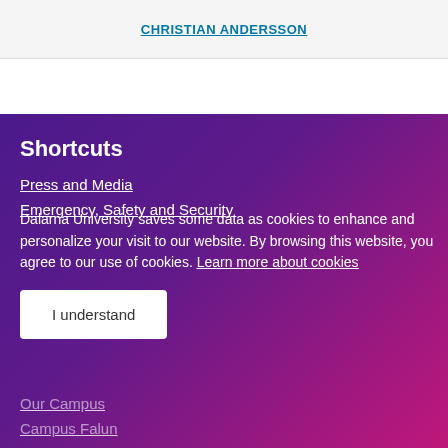CHRISTIAN ANDERSSON
Shortcuts
Press and Media
Emergency, Safety and Security
Dalarna University saves some data as cookies to enhance and personalize your visit to our website. By browsing this website, you agree to our use of cookies. Learn more about cookies
I understand
Our Campus
Campus Falun